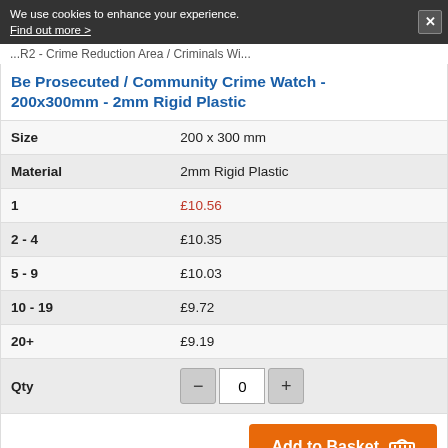We use cookies to enhance your experience. Find out more >
...R2 - Crime Reduction Area / Criminals Will Be Prosecuted / Community Crime Watch - 200x300mm - 2mm Rigid Plastic
Be Prosecuted / Community Crime Watch - 200x300mm - 2mm Rigid Plastic
|  |  |
| --- | --- |
| Size | 200 x 300 mm |
| Material | 2mm Rigid Plastic |
| 1 | £10.56 |
| 2 - 4 | £10.35 |
| 5 - 9 | £10.03 |
| 10 - 19 | £9.72 |
| 20+ | £9.19 |
| Qty | - 0 + |
Add to Basket
XY12025-P - Crime Reduction Area / Criminals Will Be Prosecuted / Community Crime Watch -